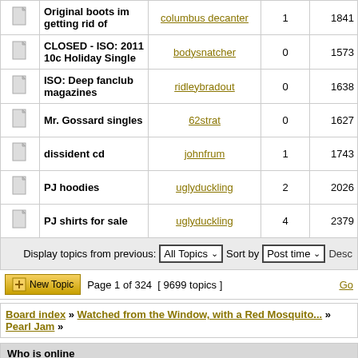|  | Topic | Author | Replies | Views |
| --- | --- | --- | --- | --- |
| [icon] | Original boots im getting rid of | columbus decanter | 1 | 1841 |
| [icon] | CLOSED - ISO: 2011 10c Holiday Single | bodysnatcher | 0 | 1573 |
| [icon] | ISO: Deep fanclub magazines | ridleybradout | 0 | 1638 |
| [icon] | Mr. Gossard singles | 62strat | 0 | 1627 |
| [icon] | dissident cd | johnfrum | 1 | 1743 |
| [icon] | PJ hoodies | uglyduckling | 2 | 2026 |
| [icon] | PJ shirts for sale | uglyduckling | 4 | 2379 |
Display topics from previous: All Topics ∨  Sort by  Post time ∨  Desc
Page 1 of 324  [ 9699 topics ]
Board index » Watched from the Window, with a Red Mosquito... » Pearl Jam »
Who is online
Users browsing this forum: 10Club Management and 2 guests
New posts   No new posts   Announcement